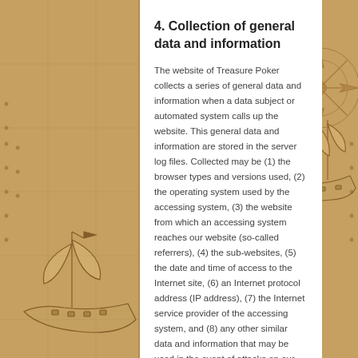4. Collection of general data and information
The website of Treasure Poker collects a series of general data and information when a data subject or automated system calls up the website. This general data and information are stored in the server log files. Collected may be (1) the browser types and versions used, (2) the operating system used by the accessing system, (3) the website from which an accessing system reaches our website (so-called referrers), (4) the sub-websites, (5) the date and time of access to the Internet site, (6) an Internet protocol address (IP address), (7) the Internet service provider of the accessing system, and (8) any other similar data and information that may be used in the event of attacks on our information technology systems.